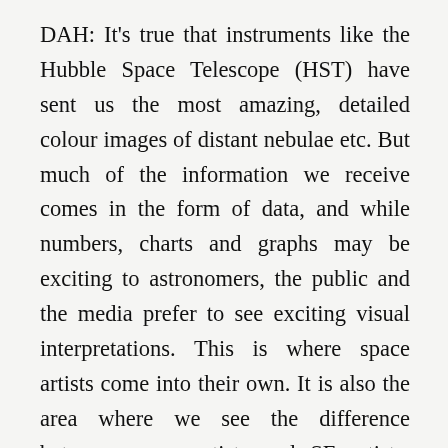DAH: It's true that instruments like the Hubble Space Telescope (HST) have sent us the most amazing, detailed colour images of distant nebulae etc. But much of the information we receive comes in the form of data, and while numbers, charts and graphs may be exciting to astronomers, the public and the media prefer to see exciting visual interpretations. This is where space artists come into their own. It is also the area where we see the difference between space artists and SF artists: while SF and fantasy artists are free to use their imagination, space artists need to combine these talents with accurate scientific knowledge to produce effective art.